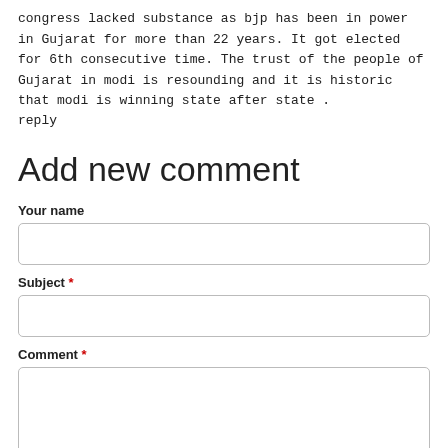congress lacked substance as bjp has been in power in Gujarat for more than 22 years. It got elected for 6th consecutive time. The trust of the people of Gujarat in modi is resounding and it is historic that modi is winning state after state .
reply
Add new comment
Your name
Subject *
Comment *